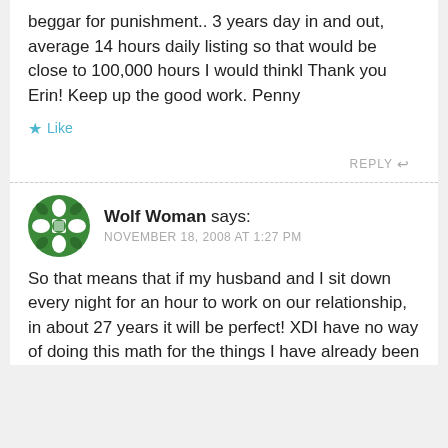beggar for punishment.. 3 years day in and out, average 14 hours daily listing so that would be close to 100,000 hours I would think! Thank you Erin! Keep up the good work. Penny
★ Like
REPLY ↩
Wolf Woman says: NOVEMBER 18, 2008 AT 1:27 PM
So that means that if my husband and I sit down every night for an hour to work on our relationship, in about 27 years it will be perfect! XDI have no way of doing this math for the things I have already been